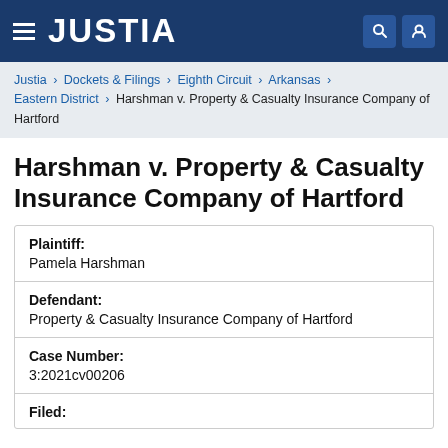JUSTIA
Justia › Dockets & Filings › Eighth Circuit › Arkansas › Eastern District › Harshman v. Property & Casualty Insurance Company of Hartford
Harshman v. Property & Casualty Insurance Company of Hartford
| Field | Value |
| --- | --- |
| Plaintiff: | Pamela Harshman |
| Defendant: | Property & Casualty Insurance Company of Hartford |
| Case Number: | 3:2021cv00206 |
| Filed: |  |